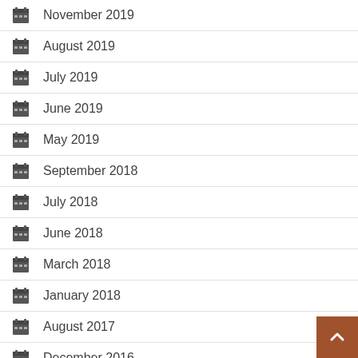November 2019
August 2019
July 2019
June 2019
May 2019
September 2018
July 2018
June 2018
March 2018
January 2018
August 2017
December 2016
July 2016